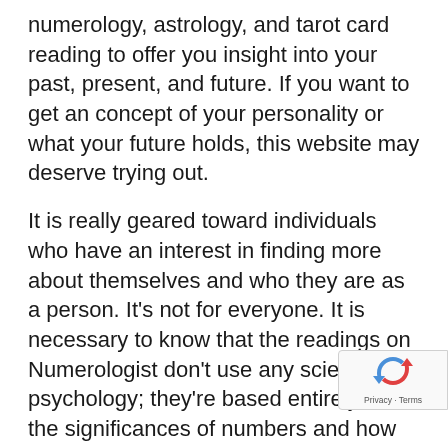numerology, astrology, and tarot card reading to offer you insight into your past, present, and future. If you want to get an concept of your personality or what your future holds, this website may deserve trying out.
It is really geared toward individuals who have an interest in finding more about themselves and who they are as a person. It's not for everyone. It is necessary to know that the readings on Numerologist don't use any science or psychology; they're based entirely on the significances of numbers and how they associate with each other in different combinations.
A great deal of individuals like Numeralist